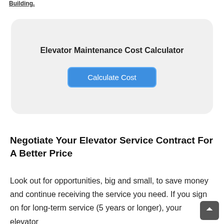Building.
[Figure (other): Elevator Maintenance Cost Calculator widget with a 'Calculate Cost' button on a light gray rounded rectangle background.]
Negotiate Your Elevator Service Contract For A Better Price
Look out for opportunities, big and small, to save money and continue receiving the service you need. If you sign on for long-term service (5 years or longer), your elevator